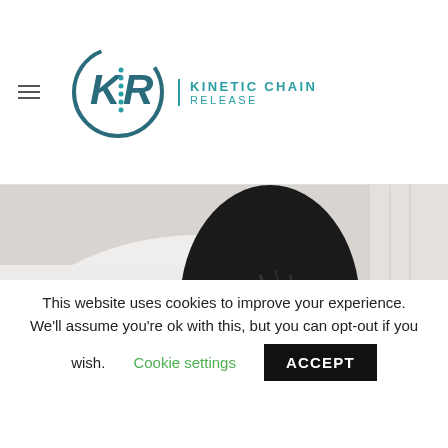[Figure (logo): KRI Kinetic Chain Release logo with circular KR emblem and teal text]
[Figure (photo): Close-up photo of a person's knee/leg area in black clothing against a white background]
This website uses cookies to improve your experience.
We'll assume you're ok with this, but you can opt-out if you wish.
Cookie settings
ACCEPT